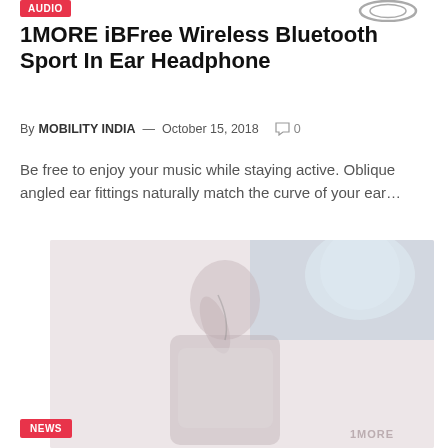AUDIO
1MORE iBFree Wireless Bluetooth Sport In Ear Headphone
By MOBILITY INDIA — October 15, 2018  ○ 0
Be free to enjoy your music while staying active. Oblique angled ear fittings naturally match the curve of your ear…
[Figure (photo): A person wearing wireless earphones, shown in a faded/washed-out promotional image with the 1MORE logo watermark at bottom right]
NEWS